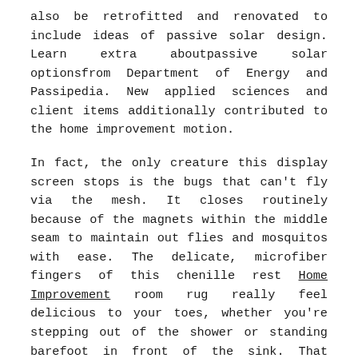also be retrofitted and renovated to include ideas of passive solar design. Learn extra aboutpassive solar optionsfrom Department of Energy and Passipedia. New applied sciences and client items additionally contributed to the home improvement motion.
In fact, the only creature this display screen stops is the bugs that can't fly via the mesh. It closes routinely because of the magnets within the middle seam to maintain out flies and mosquitos with ease. The delicate, microfiber fingers of this chenille rest Home Improvement room rug really feel delicious to your toes, whether you're stepping out of the shower or standing barefoot in front of the sink. That lush, multi-fiber fabric is severe about trapping water, too.